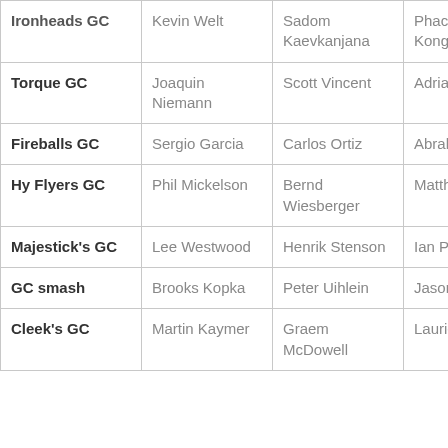| Team | Player 1 | Player 2 | Player 3 | Player 4 |
| --- | --- | --- | --- | --- |
| Ironheads GC | Kevin Welt | Sadom Kaevkanjana | Phachara Kongwatmai | Siw... Kim... |
| Torque GC | Joaquin Niemann | Scott Vincent | Adrian Otaegui | Jed... Mor... |
| Fireballs GC | Sergio Garcia | Carlos Ortiz | Abraham Ancer | Eug... Lóp... Cha... |
| Hy Flyers GC | Phil Mickelson | Bernd Wiesberger | Matthew Wolff | Cam... Trin... |
| Majestick's GC | Lee Westwood | Henrik Stenson | Ian Poulter | Sam... Hor... |
| GC smash | Brooks Kopka | Peter Uihlein | Jason Kokrak | Cha... Koe... |
| Cleek's GC | Martin Kaymer | Graem McDowell | Laurie Canter | Rich... Blar... |